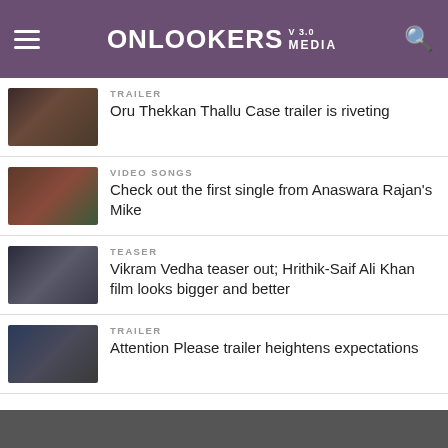Onlookers Media V 3.0
TRAILER
Oru Thekkan Thallu Case trailer is riveting
VIDEO SONGS
Check out the first single from Anaswara Rajan's Mike
TEASER
Vikram Vedha teaser out; Hrithik-Saif Ali Khan film looks bigger and better
TRAILER
Attention Please trailer heightens expectations